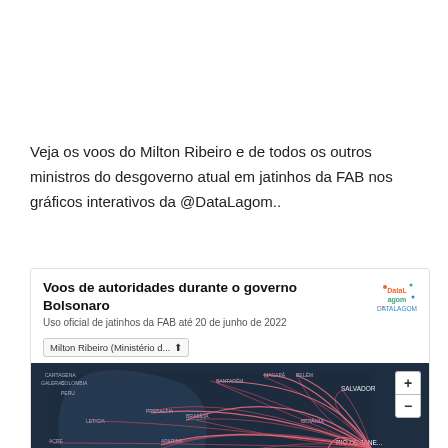Veja os voos do Milton Ribeiro e de todos os outros ministros do desgoverno atual em jatinhos da FAB nos gráficos interativos da @DataLagom..
[Figure (map): Interactive map titled 'Voos de autoridades durante o governo Bolsonaro' showing flight paths of Brazilian government officials using FAB jets up to June 20, 2022, with Milton Ribeiro (Ministério d...) selected in dropdown. Map shows South America with curved flight lines converging on Rio de Janeiro/São Paulo area. Cities labeled include Salvador, Goiânia, Rio de Janeiro, São Paulo, Curitiba, Lima, Tucumã, Porto Velho, Leticia, Aparima, Prebaltia, Santarém, Macapá, and others. Map has blue/dark background with reddish flight arc lines.]